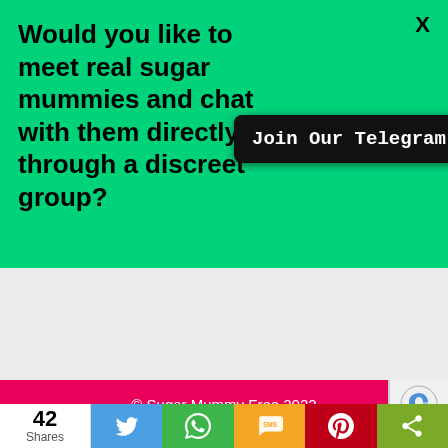Would you like to meet real sugar mummies and chat with them directly through a discreet group?
X
Join Our Telegram Group HERE
All Sugar Mummies
© Sugar Mummy Free 2022
42 Shares